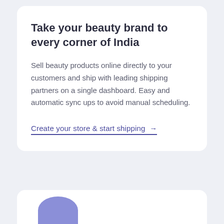Take your beauty brand to every corner of India
Sell beauty products online directly to your customers and ship with leading shipping partners on a single dashboard. Easy and automatic sync ups to avoid manual scheduling.
Create your store & start shipping →